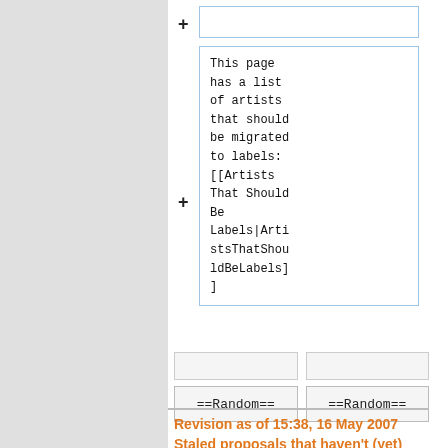This page has a list of artists that should be migrated to labels: [[Artists That Should Be Labels|ArtistsThatShouldBeLabels]]
==Random==
==Random==
Revision as of 15:38, 16 May 2007
Staled proposals that haven't (yet)